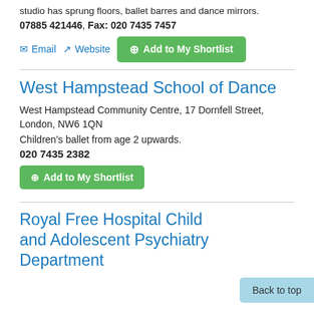studio has sprung floors, ballet barres and dance mirrors.
07885 421446, Fax: 020 7435 7457
Email  Website  Add to My Shortlist
West Hampstead School of Dance
West Hampstead Community Centre, 17 Dornfell Street, London, NW6 1QN
Children's ballet from age 2 upwards.
020 7435 2382
Add to My Shortlist
Royal Free Hospital Child and Adolescent Psychiatry Department
Back to top